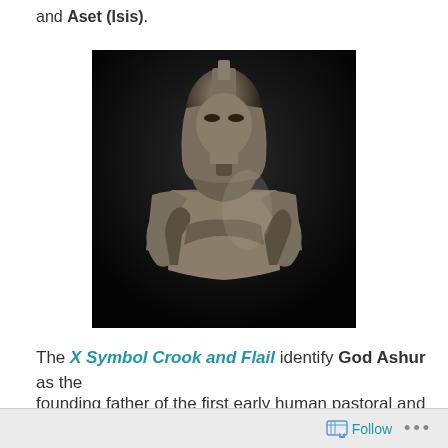and Aset (Isis).
[Figure (photo): Black statue of an Egyptian pharaoh/god figure holding crossed crook and flail symbols, with traditional headdress, against a black background.]
The X Symbol Crook and Flail identify God Ashur as the founding father of the first early human pastoral and
Follow ...